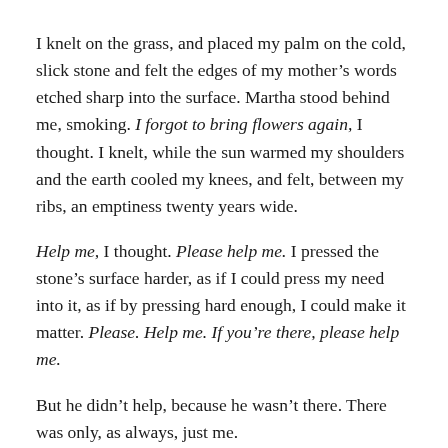I knelt on the grass, and placed my palm on the cold, slick stone and felt the edges of my mother's words etched sharp into the surface. Martha stood behind me, smoking. I forgot to bring flowers again, I thought. I knelt, while the sun warmed my shoulders and the earth cooled my knees, and felt, between my ribs, an emptiness twenty years wide.
Help me, I thought. Please help me. I pressed the stone's surface harder, as if I could press my need into it, as if by pressing hard enough, I could make it matter. Please. Help me. If you're there, please help me.
But he didn't help, because he wasn't there. There was only, as always, just me.
* * *